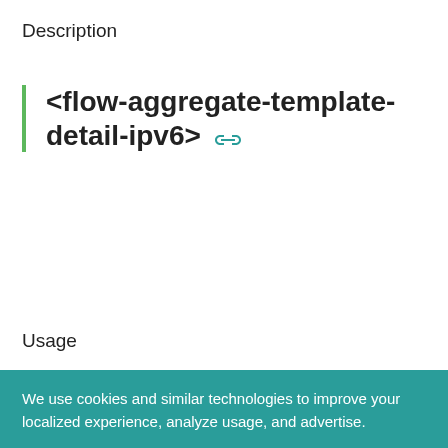Description
<flow-aggregate-template-detail-ipv6>
Usage
[Figure (screenshot): Code block area with copy and expand icons in top-right corner, light gray background]
We use cookies and similar technologies to improve your localized experience, analyze usage, and advertise.
Privacy Policy
OK
Cookie Settings